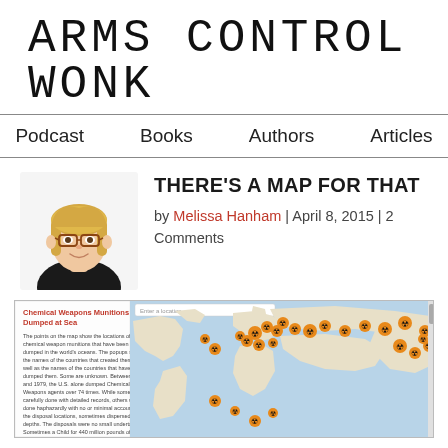ARMS CONTROL WONK
Podcast | Books | Authors | Articles
[Figure (illustration): Illustrated avatar of a blonde woman with glasses and dark top]
THERE'S A MAP FOR THAT
by Melissa Hanham | April 8, 2015 | 2 Comments
[Figure (map): Screenshot of a Google map titled 'Chemical Weapons Munitions Dumped at Sea' showing locations of chemical weapon munitions dumped in world oceans, marked with orange hazard symbols concentrated in European waters and Asia.]